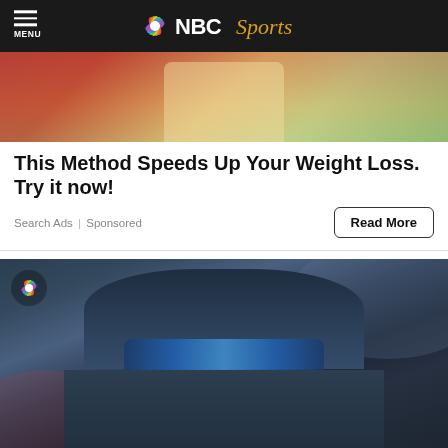NBC Sports
[Figure (photo): Advertisement photo showing a person holding a food product, with red clothing visible]
This Method Speeds Up Your Weight Loss. Try it now!
Search Ads | Sponsored
Read More
[Figure (photo): A man wearing a dark navy baseball cap with a letter A logo and blue reflective sunglasses, smiling, with a beard. An NBC Sports peacock logo is visible in the upper left corner of the photo.]